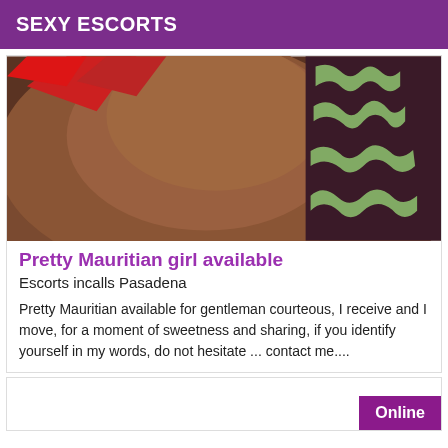SEXY ESCORTS
[Figure (photo): Close-up photo of a dark-skinned person, with a red object and dark patterned fabric with light green geometric design on the right side]
Pretty Mauritian girl available
Escorts incalls Pasadena
Pretty Mauritian available for gentleman courteous, I receive and I move, for a moment of sweetness and sharing, if you identify yourself in my words, do not hesitate ... contact me....
Online